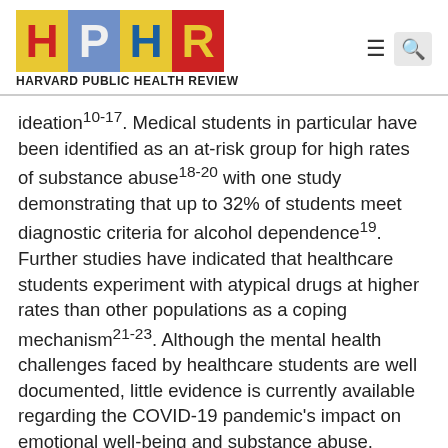[Figure (logo): HPHR Harvard Public Health Review logo with colored letter blocks (H, P, H, R) in yellow, blue, yellow, red backgrounds]
ideation¹⁰⁻¹⁷. Medical students in particular have been identified as an at-risk group for high rates of substance abuse¹⁸⁻²⁰ with one study demonstrating that up to 32% of students meet diagnostic criteria for alcohol dependence¹⁹. Further studies have indicated that healthcare students experiment with atypical drugs at higher rates than other populations as a coping mechanism²¹⁻²³. Although the mental health challenges faced by healthcare students are well documented, little evidence is currently available regarding the COVID-19 pandemic's impact on emotional well-being and substance abuse.
Acute fear can be a valuable adaptive behavioral mechanism. However, chronic fear can hasten development